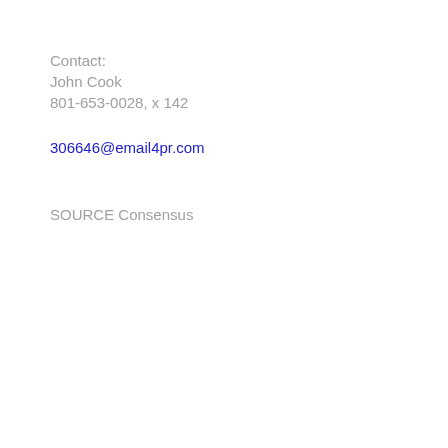Contact:
John Cook
801-653-0028, x 142
306646@email4pr.com
SOURCE Consensus